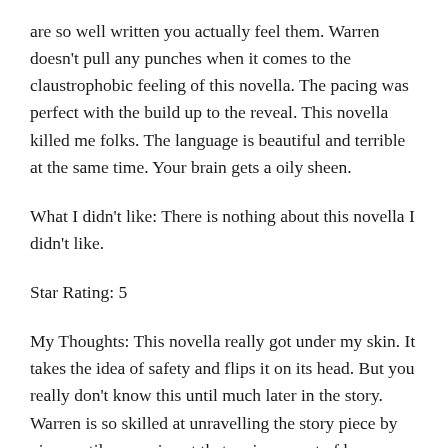are so well written you actually feel them. Warren doesn't pull any punches when it comes to the claustrophobic feeling of this novella. The pacing was perfect with the build up to the reveal. This novella killed me folks. The language is beautiful and terrible at the same time. Your brain gets a oily sheen.
What I didn't like: There is nothing about this novella I didn't like.
Star Rating: 5
My Thoughts: This novella really got under my skin. It takes the idea of safety and flips it on its head. But you really don't know this until much later in the story. Warren is so skilled at unravelling the story piece by piece until you arrive at that main current of horror...